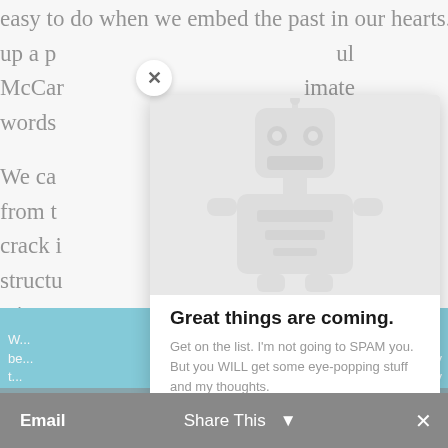easy to do when we embed the past in our hearts. We are giving
up a p ... ul
McCar ... imate
words
We ca ... eople
from t ... ates a
crack i ... for a
struct ... or the
wine t ... simply
using ... w the
[Figure (screenshot): Modal popup overlay with ghost/robot illustration and newsletter signup text. Title: 'Great things are coming.' Body: 'Get on the list. I'm not going to SPAM you. But you WILL get some eye-popping stuff and my thoughts.' Close button in top-left corner. Share bar at bottom with Email, Share This, and X button.]
Great things are coming.
Get on the list. I'm not going to SPAM you. But you WILL get some eye-popping stuff and my thoughts.
Email   Share This ˅   ✕